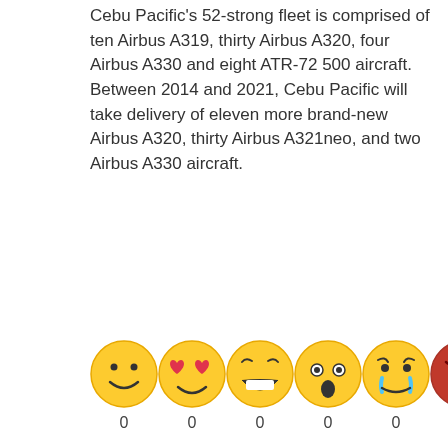Cebu Pacific's 52-strong fleet is comprised of ten Airbus A319, thirty Airbus A320, four Airbus A330 and eight ATR-72 500 aircraft. Between 2014 and 2021, Cebu Pacific will take delivery of eleven more brand-new Airbus A320, thirty Airbus A321neo, and two Airbus A330 aircraft.
[Figure (infographic): Six emoji reaction icons (smiley, heart-eyes, laughing, surprised, crying, angry) each with a count of 0 below them.]
SHARE THIS
[Figure (infographic): Social share buttons: Facebook, Twitter, Google+, Pinterest (icon only), LinkedIn (icon only)]